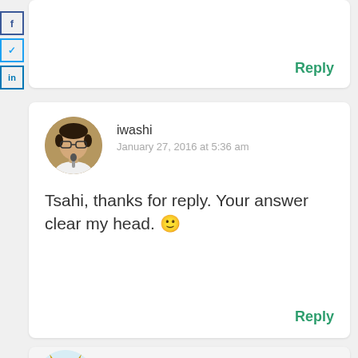[Figure (other): Social media share buttons (Facebook, Twitter, LinkedIn) on left edge]
Reply
[Figure (photo): Circular avatar photo of user iwashi, a person holding a microphone]
iwashi
January 27, 2016 at 5:36 am
Tsahi, thanks for reply. Your answer clear my head. 🙂
Reply
[Figure (illustration): Circular avatar illustration of user Sergio Garcia Murillo, a green cartoon monster]
Sergio Garcia Murillo
January 26, 2016 at 11:34 am